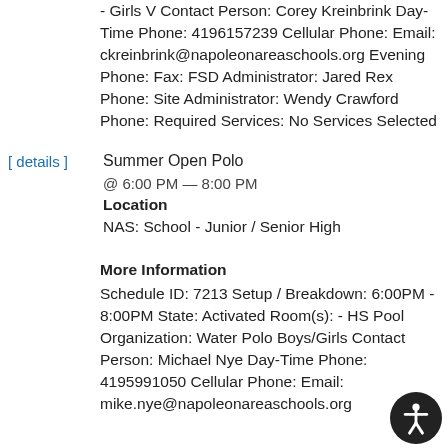- Girls V Contact Person: Corey Kreinbrink Day-Time Phone: 4196157239 Cellular Phone: Email: ckreinbrink@napoleonareaschools.org Evening Phone: Fax: FSD Administrator: Jared Rex Phone: Site Administrator: Wendy Crawford Phone: Required Services: No Services Selected
[ details ] Summer Open Polo @ 6:00 PM — 8:00 PM Location NAS: School - Junior / Senior High
More Information
Schedule ID: 7213 Setup / Breakdown: 6:00PM - 8:00PM State: Activated Room(s): - HS Pool Organization: Water Polo Boys/Girls Contact Person: Michael Nye Day-Time Phone: 4195991050 Cellular Phone: Email: mike.nye@napoleonareaschools.org